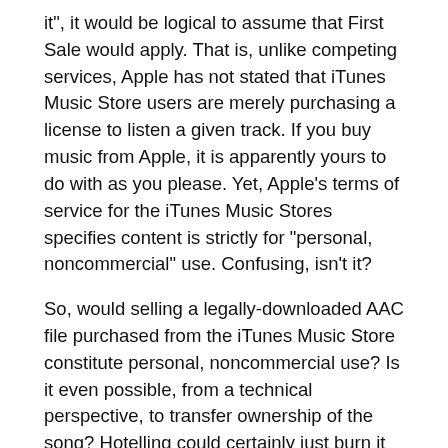it", it would be logical to assume that First Sale would apply. That is, unlike competing services, Apple has not stated that iTunes Music Store users are merely purchasing a license to listen a given track. If you buy music from Apple, it is apparently yours to do with as you please. Yet, Apple's terms of service for the iTunes Music Stores specifies content is strictly for “personal, noncommercial” use. Confusing, isn't it?
So, would selling a legally-downloaded AAC file purchased from the iTunes Music Store constitute personal, noncommercial use? Is it even possible, from a technical perspective, to transfer ownership of the song? Hotelling could certainly just burn it to a CD, then import it back to iTunes and encode it as an MP3, but he is intentionally opting not to do so. As such, it is too soon to tell if there is even a mechanism within the service that would allow this type of transaction. Music downloaded from Apple is tied to specific user accounts registered at the iTunes Music Store and, from there, is further tied to a maximum of three “authorized” computers. If Mr. Hotelling